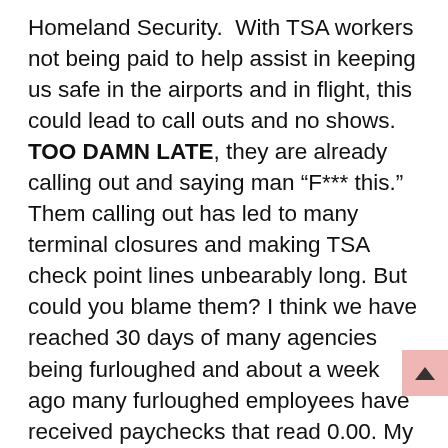Homeland Security.  With TSA workers not being paid to help assist in keeping us safe in the airports and in flight, this could lead to call outs and no shows. TOO DAMN LATE, they are already calling out and saying man “F*** this.” Them calling out has led to many terminal closures and making TSA check point lines unbearably long. But could you blame them? I think we have reached 30 days of many agencies being furloughed and about a week ago many furloughed employees have received paychecks that read 0.00. My heart truly goes out to these employees who are required to show with no pay, despite not having gas in their cars, or enough money to give their children for lunch for the week